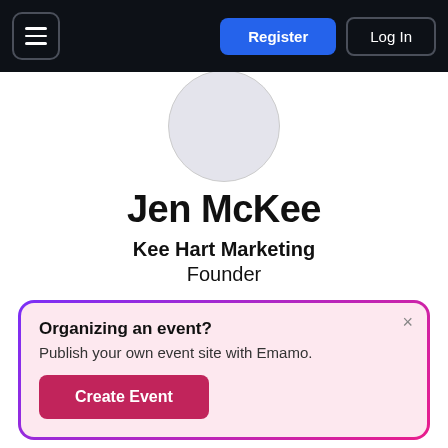[Figure (screenshot): Dark navigation bar with hamburger menu icon on left, blue Register button and outlined Log In button on right]
[Figure (photo): Circular avatar placeholder (light grey circle) for user profile photo]
Jen McKee
Kee Hart Marketing
Founder
[Figure (infographic): Row of social media icons: globe/website icon, Facebook (blue), Instagram (teal), LinkedIn (light blue)]
[Figure (screenshot): Popup banner with gradient purple-to-pink border on pink background. Title: Organizing an event? Body: Publish your own event site with Emamo. Button: Create Event (dark pink/crimson). Close X button top right.]